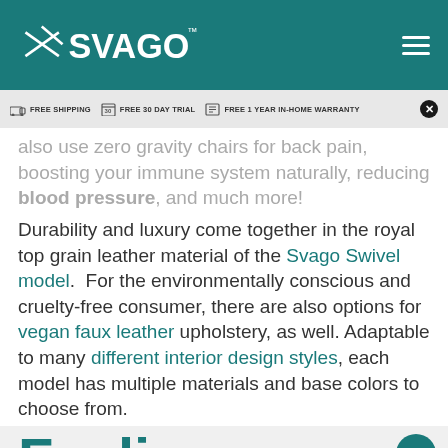[Figure (logo): Svago brand logo in white on teal header with hamburger menu icon]
FREE SHIPPING   FREE 30 DAY TRIAL   FREE 1 YEAR IN-HOME WARRANTY
also use zero gravity chairs for back pain, boosting your immune system naturally, reducing blood pressure, and much more!
Durability and luxury come together in the royal top grain leather material of the Svago Swivel model. For the environmentally conscious and cruelty-free consumer, there are also options for vegan faux leather upholstery, as well. Adaptable to many different interior design styles, each model has multiple materials and base colors to choose from.
Feelin
Chat now